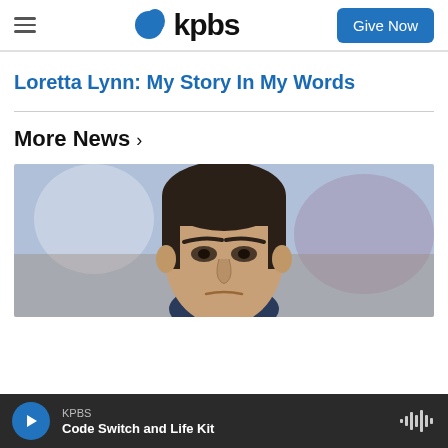kpbs | Give Now
Loretta Lynn: My Story In My Words
More News ›
[Figure (photo): Close-up photo of a young man with short dark hair, looking downward with a furrowed brow, with blurred crowd/stadium background]
KPBS — Code Switch and Life Kit (audio player bar)